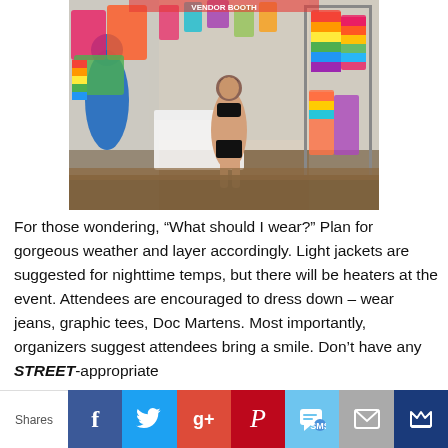[Figure (photo): A woman in a black bikini top and black shorts stands in a colorful tie-dye clothing booth, posing with hands on hips. On the left is a person in a full-body blue paint suit. Tie-dye garments hang on racks and walls throughout the booth.]
For those wondering, “What should I wear?” Plan for gorgeous weather and layer accordingly. Light jackets are suggested for nighttime temps, but there will be heaters at the event. Attendees are encouraged to dress down – wear jeans, graphic tees, Doc Martens. Most importantly, organizers suggest attendees bring a smile. Don’t have any STREET-appropriate